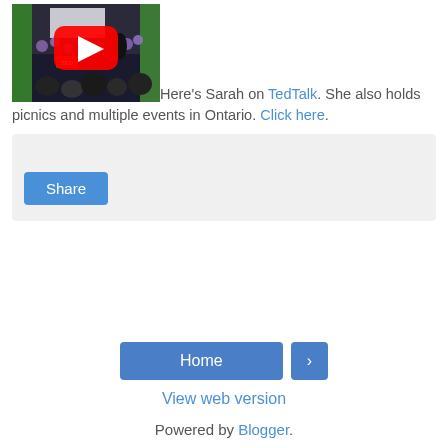[Figure (screenshot): YouTube video thumbnail showing a TED Talk event with an audience, stage, silver balloons, green lighting, and a YouTube play button overlay]
Here's Sarah on TedTalk. She also holds picnics and multiple events in Ontario. Click here.
Share (button)
Home (navigation button)
View web version
Powered by Blogger.